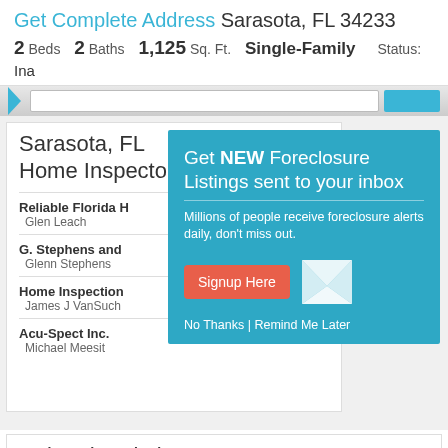Get Complete Address Sarasota, FL 34233
2 Beds  2 Baths  1,125 Sq. Ft.  Single-Family  Status: Ina
[Figure (screenshot): Navigation bar with search arrow, input field, and blue button]
Sarasota, FL Home Inspectors
[Figure (logo): ASHI circular badge/seal logo]
Reliable Florida H
Glen Leach
G. Stephens and ...
Glenn Stephens
Home Inspection...
James J VanSuch
Acu-Spect Inc.
Michael Meesit
[Figure (infographic): Teal modal popup: Get NEW Foreclosure Listings sent to your inbox. Millions of people receive foreclosure alerts daily, don't miss out. Signup Here button. No Thanks | Remind Me Later links.]
Related Websites